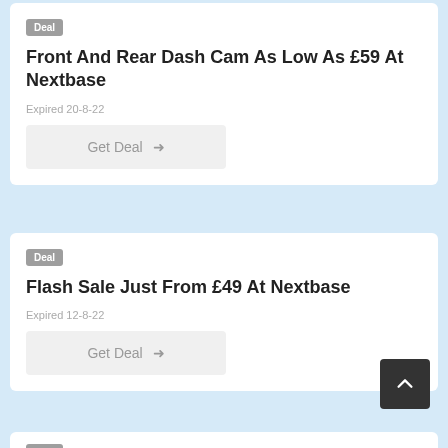Deal
Front And Rear Dash Cam As Low As £59 At Nextbase
Expired 20-8-22
Get Deal →
Deal
Flash Sale Just From £49 At Nextbase
Expired 12-8-22
Get Deal →
Deal